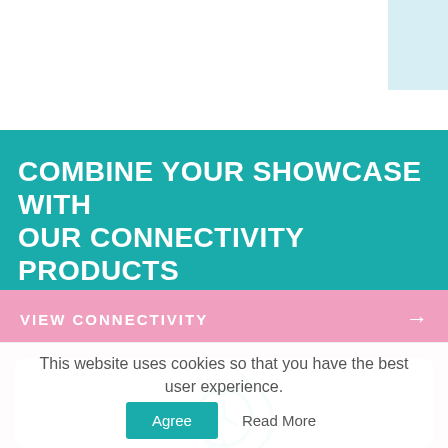COMBINE YOUR SHOWCASE WITH OUR CONNECTIVITY PRODUCTS
VIEW CONNECTIVITY →
[Figure (illustration): Teal circular clock icon with a refresh/reload arrow, indicating a time or history symbol]
This website uses cookies so that you have the best user experience. Agree Read More